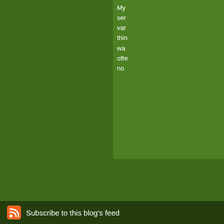My ser var thin wa ofte no
The comments to t
Pl
87 Free Web 2.0 P Classroom The bo level and has curat
Subscribe to this blog's feed